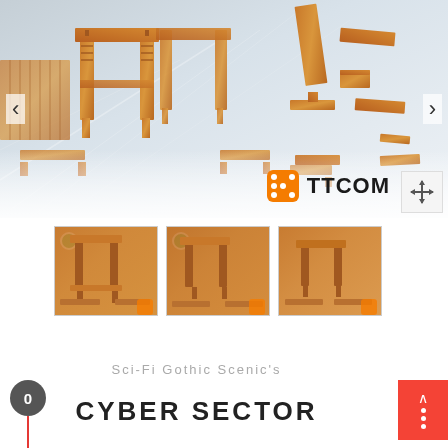[Figure (photo): Product photo of Sci-Fi Gothic Cyber Sector laser-cut wooden terrain pieces scattered on a light background with TTCOM logo in the lower right corner. Navigation arrows on left and right sides.]
[Figure (photo): Three thumbnail images of the same Cyber Sector product showing different angles/configurations of the wooden terrain pieces.]
Sci-Fi Gothic Scenic's
CYBER SECTOR